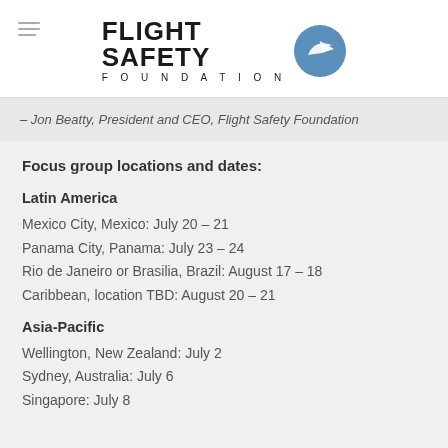FLIGHT SAFETY FOUNDATION
— Jon Beatty, President and CEO, Flight Safety Foundation
Focus group locations and dates:
Latin America
Mexico City, Mexico: July 20 – 21
Panama City, Panama: July 23 – 24
Rio de Janeiro or Brasilia, Brazil: August 17 – 18
Caribbean, location TBD: August 20 – 21
Asia-Pacific
Wellington, New Zealand: July 2
Sydney, Australia: July 6
Singapore: July 8